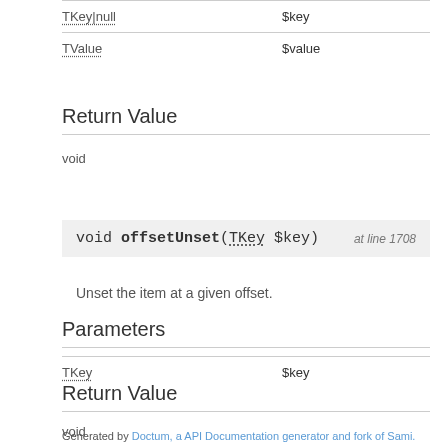| Type | Parameter |
| --- | --- |
| TKey|null | $key |
| TValue | $value |
Return Value
void
void offsetUnset(TKey $key)   at line 1708
Unset the item at a given offset.
Parameters
| Type | Parameter |
| --- | --- |
| TKey | $key |
Return Value
void
Generated by Doctum, a API Documentation generator and fork of Sami.